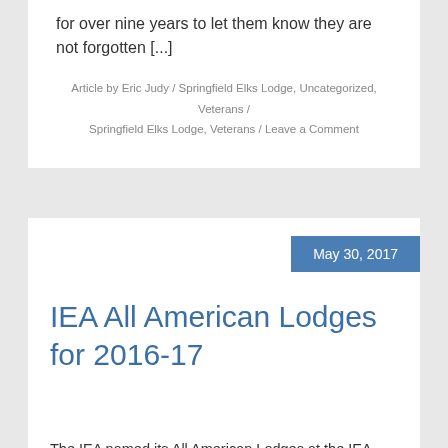for over nine years to let them know they are not forgotten [...]
Article by Eric Judy / Springfield Elks Lodge, Uncategorized, Veterans / Springfield Elks Lodge, Veterans / Leave a Comment
May 30, 2017
IEA All American Lodges for 2016-17
The IEA named its All American Lodges at the IEA Annual Meeting in May. Winning in Division 1 was Galesburg 894, represented by Exalted Ruler David Beard; in Division 2, Salem 1678, represented by ER Mike Hooe; in Division 3, Centralia 793, represented by ER Bill Luebben; and in Division 4, Springfield 158, represented by [...]